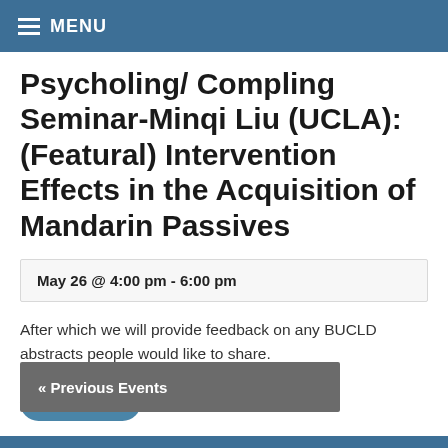MENU
Psycholing/ Compling Seminar-Minqi Liu (UCLA): (Featural) Intervention Effects in the Acquisition of Mandarin Passives
May 26 @ 4:00 pm - 6:00 pm
After which we will provide feedback on any BUCLD abstracts people would like to share.
Read More
« Previous Events